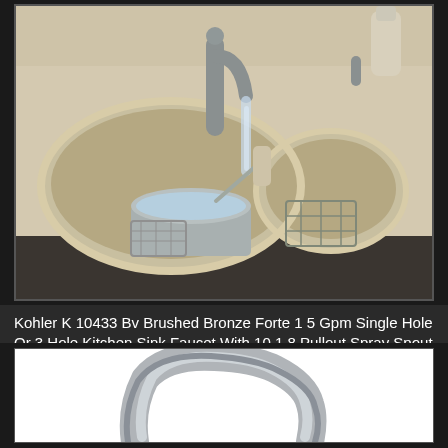[Figure (photo): Kohler kitchen sink with double basin, beige/cream color. A stainless steel pot is under running water from a brushed bronze/nickel pull-out faucet. A wire rack is visible in the smaller basin. Beige countertop surrounds the sink.]
Kohler K 10433 Bv Brushed Bronze Forte 1 5 Gpm Single Hole Or 3 Hole Kitchen Sink Faucet With 10 1 8 Pullout Spray Spout With Masterclean Sprayface Faucetdir Kitchen Sink Faucets Sink Faucets Sink
[Figure (photo): Close-up of a brushed nickel kitchen faucet spout/neck showing the curved arc shape against a white background.]